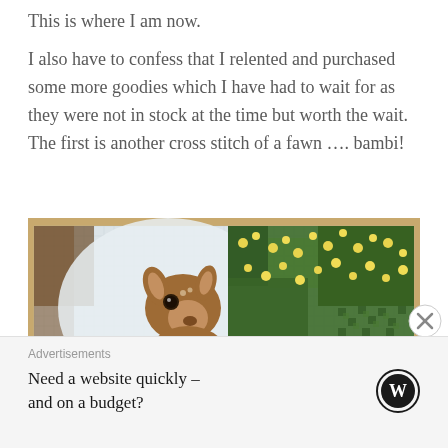This is where I am now.
I also have to confess that I relented and purchased some more goodies which I have had to wait for as they were not in stock at the time but worth the wait.  The first is another cross stitch of a fawn …. bambi!
[Figure (photo): A cross stitch embroidery in progress on fabric, showing a fawn (baby deer) facing forward with large ears, brown spotted coat, and a background of green foliage with yellow flowers. The fabric is laid on a brown surface.]
Advertisements
Need a website quickly – and on a budget?